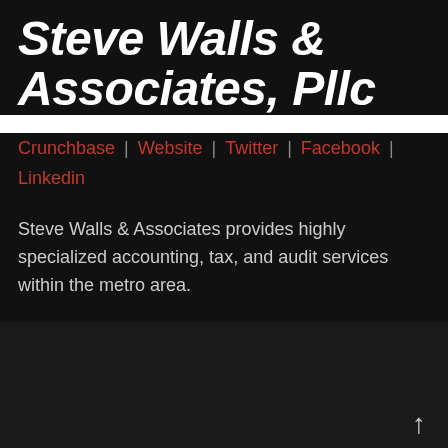Steve Walls & Associates, Pllc
Crunchbase | Website | Twitter | Facebook | Linkedin
Steve Walls & Associates provides highly specialized accounting, tax, and audit services within the metro area.
23 SHARES